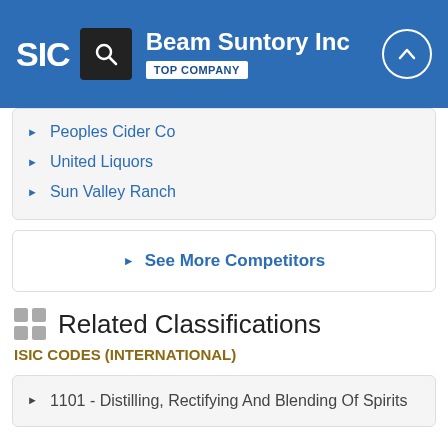Beam Suntory Inc — TOP COMPANY — SIC
Peoples Cider Co
United Liquors
Sun Valley Ranch
See More Competitors
Related Classifications
ISIC CODES (INTERNATIONAL)
1101 - Distilling, Rectifying And Blending Of Spirits